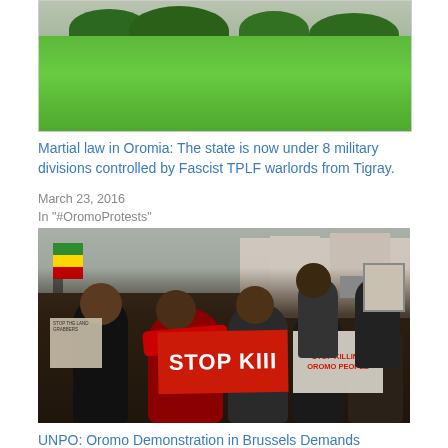[Figure (photo): Photograph of a green grassy park/field with trees in the background, taken from a raised vantage point.]
Martial law in Oromia: The state is now under 8 military divisions controlled by Fascist TPLF warlords from Tigray.
March 23, 2016
In "#OromoProtests"
[Figure (photo): Photograph of a protest demonstration with a crowd of people holding signs. Visible signs include 'STOP KILLING OROMO PEOPLE' in red letters.]
UNPO: Oromo Demonstration in Brussels Demands European Union to take a Firm Stand against Ethiopian Government
January 16, 2016
In "Africa"